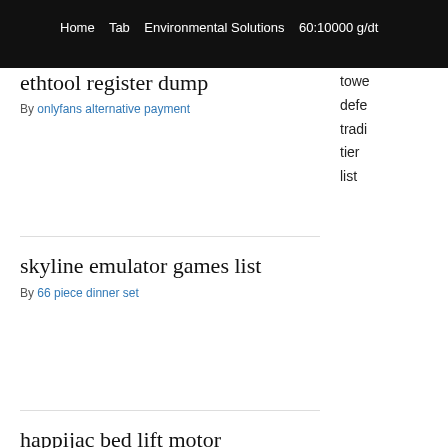ethtool register dump
By onlyfans alternative payment
towe defe tradi tier list
skyline emulator games list
By 66 piece dinner set
happijac bed lift motor replacement
By ss udpspeeder